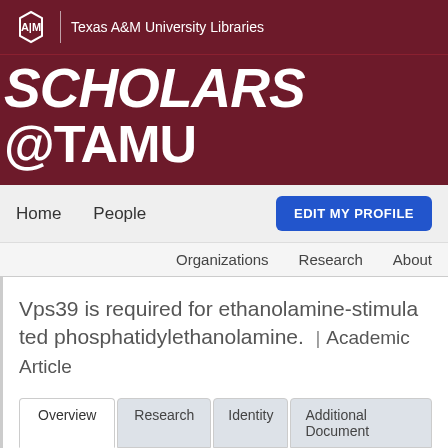[Figure (logo): Texas A&M University shield logo]
Texas A&M University Libraries
SCHOLARS @TAMU
Home   People   EDIT MY PROFILE
Organizations   Research   About
Vps39 is required for ethanolamine-stimulated phosphatidylethanolamine.  |  Academic Article
Overview  Research  Identity  Additional Document
abstract